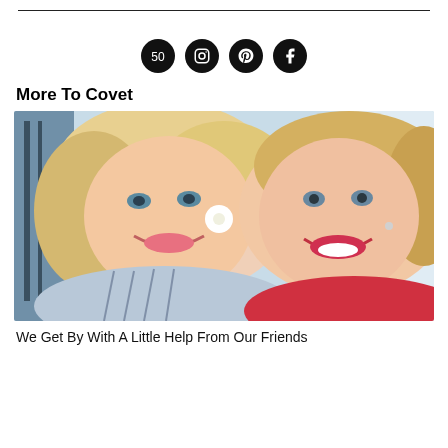[Figure (other): Horizontal rule divider line]
[Figure (other): Four social media icon buttons (email/newsletter, Instagram, Pinterest, Facebook) as black circles with white icons]
More To Covet
[Figure (photo): Selfie photo of two smiling blonde women cheek to cheek. Left woman wears a blue striped shirt and large white flower earrings. Right woman wears a red top and has red lipstick.]
We Get By With A Little Help From Our Friends